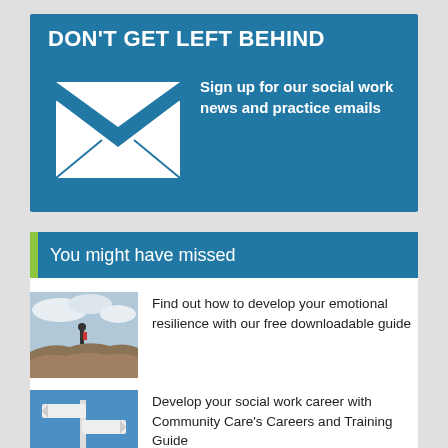[Figure (infographic): Blue banner with envelope icon and text 'DON'T GET LEFT BEHIND - Sign up for our social work news and practice emails']
You might have missed
[Figure (photo): Person standing on rocky outcrop against cloudy sky]
Find out how to develop your emotional resilience with our free downloadable guide
[Figure (photo): Directional signs against blue sky]
Develop your social work career with Community Care's Careers and Training Guide